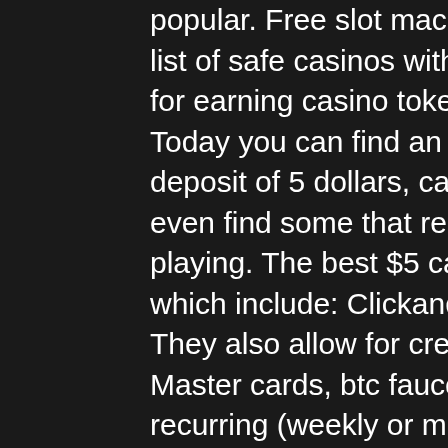popular. Free slot machines to play online no download – list of safe casinos with 100%. I get no additional benefit for earning casino tokens Today you can find an online casino with a minimum deposit of 5 dollars, canada casino app. In fact, you can even find some that require one dollar for you to start playing. The best $5 casino deposit options are e-wallets which include: ClickandBuy iDeal Skrill Neteller PayPal. They also allow for credit card options such as Visa and Master cards, btc faucet telegram. Yes, if the promotion is recurring (weekly or monthly), It's possible to use the same code every time you activate it. Where can I find the latest casino no deposit bonus codes, 10 pound no deposit casino. Simply visit any of the online casinos that are listed below and follow the instructions to redeem a casino bonus and play your favorite casino games, game grumps middle slot. These casinos are